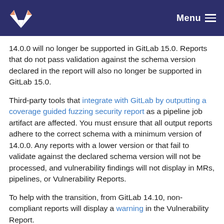Menu
14.0.0 will no longer be supported in GitLab 15.0. Reports that do not pass validation against the schema version declared in the report will also no longer be supported in GitLab 15.0.
Third-party tools that integrate with GitLab by outputting a coverage guided fuzzing security report as a pipeline job artifact are affected. You must ensure that all output reports adhere to the correct schema with a minimum version of 14.0.0. Any reports with a lower version or that fail to validate against the declared schema version will not be processed, and vulnerability findings will not display in MRs, pipelines, or Vulnerability Reports.
To help with the transition, from GitLab 14.10, non-compliant reports will display a warning in the Vulnerability Report.